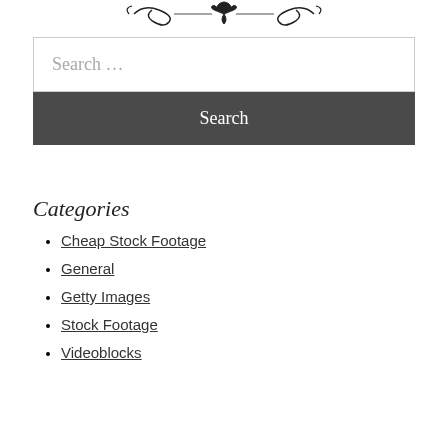[Figure (illustration): Decorative ornamental divider/flourish at the top of the page]
Search …
Search
Categories
Cheap Stock Footage
General
Getty Images
Stock Footage
Videoblocks